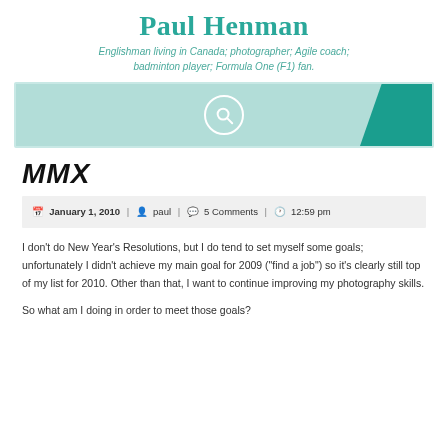Paul Henman
Englishman living in Canada; photographer; Agile coach; badminton player; Formula One (F1) fan.
[Figure (other): Search bar with teal background and search icon circle]
MMX
January 1, 2010 | paul | 5 Comments | 12:59 pm
I don’t do New Year’s Resolutions, but I do tend to set myself some goals; unfortunately I didn’t achieve my main goal for 2009 (“find a job”) so it’s clearly still top of my list for 2010. Other than that, I want to continue improving my photography skills.
So what am I doing in order to meet those goals?